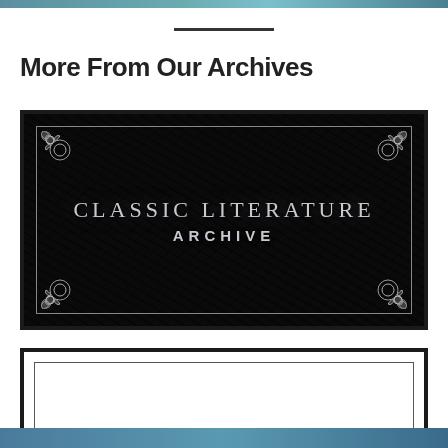[Figure (illustration): Top strip showing partial images from previous section]
More From Our Archives
[Figure (illustration): Classic Literature Archive logo: dark textured background with decorative corner ornaments and centered text reading CLASSIC LITERATURE ARCHIVE]
[Figure (illustration): Second archive entry box: white background with black border and inner border, partially visible at bottom of page]